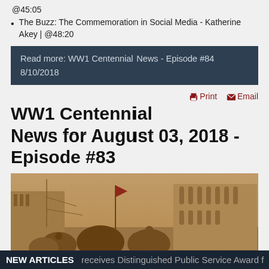@45:05
The Buzz: The Commemoration in Social Media - Katherine Akey | @48:20
Read more: WW1 Centennial News - Episode #84
8/10/2018
WW1 Centennial News for August 03, 2018 - Episode #83
[Figure (photo): Sepia-toned historical photograph showing a crowd scene on a street with buildings in the background, likely from the World War 1 era.]
NEW ARTICLES   receives Distinguished Public Service Award f